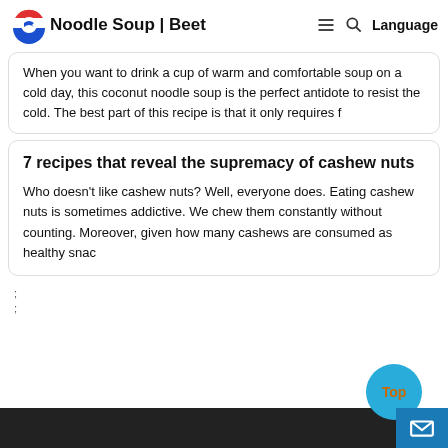Noodle Soup | Beet
When you want to drink a cup of warm and comfortable soup on a cold day, this coconut noodle soup is the perfect antidote to resist the cold. The best part of this recipe is that it only requires f
7 recipes that reveal the supremacy of cashew nuts
Who doesn't like cashew nuts? Well, everyone does. Eating cashew nuts is sometimes addictive. We chew them constantly without counting. Moreover, given how many cashews are consumed as healthy snac
;